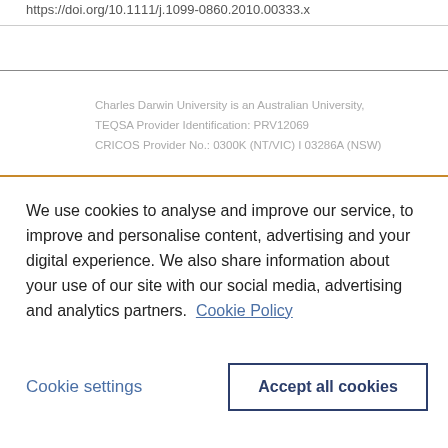https://doi.org/10.1111/j.1099-0860.2010.00333.x
Charles Darwin University is an Australian University, TEQSA Provider Identification: PRV12069 CRICOS Provider No.: 0300K (NT/VIC) I 03286A (NSW)
We use cookies to analyse and improve our service, to improve and personalise content, advertising and your digital experience. We also share information about your use of our site with our social media, advertising and analytics partners. Cookie Policy
Cookie settings
Accept all cookies